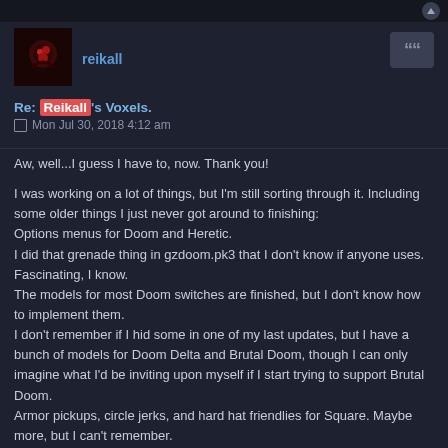reikall
Re: Reikall's Voxels.
Mon Jul 30, 2018 4:12 am
Aw, well...I guess I have to, now. Thank you!

I was working on a lot of things, but I'm still sorting through it. Including some older things I just never got around to finishing:
Options menus for Doom and Heretic.
I did that grenade thing in gzdoom.pk3 that I don't know if anyone uses. Fascinating, I know.
The models for most Doom switches are finished, but I don't know how to implement them.
I don't remember if I hid some in one of my last updates, but I have a bunch of models for Doom Delta and Brutal Doom, though I can only imagine what I'd be inviting upon myself if I start trying to support Brutal Doom.
Armor pickups, circle jerks, and hard hat friendlies for Square. Maybe more, but I can't remember.
I recorded a synthy version of the Doom episode one soundtrack. I'm pretty happy with some of it, but....
I drew some normals for vanilla Doom textures, but not a complete set.